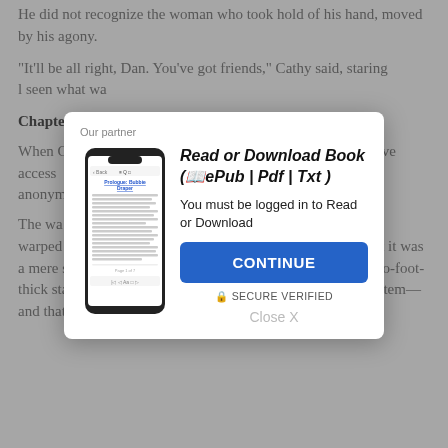He did not recognize the woman who took hold of his hand, moved by his agony.
"It'll be all right, Dan. You've got friends," Cathy said, staring [... ] seen what wa[...]
Chapte[r...]
When C[...] s the site of h[...] have access [...] world and tha[...] main anony[...] conspira[...]
The wa[...] ing to distingui[...] ood, warped [...] blown by the w[...] on that it was a mere shell housing a large bunker—a bunker fitted with two-foot-thick stainless-steel doors guarded by a laser-beam alarm system—and that its floor could be tilted
[Figure (screenshot): Modal popup overlay with partner label, phone illustration showing ebook reader, title 'Read or Download Book (📖ePub | Pdf | Txt)', login prompt, CONTINUE button, SECURE VERIFIED label, and Close X link.]